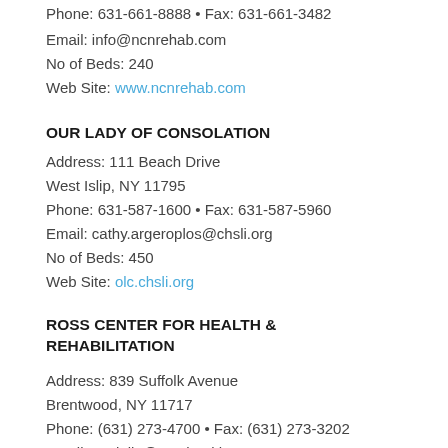Phone: 631-661-8888 • Fax: 631-661-3482
Email: info@ncnrehab.com
No of Beds: 240
Web Site: www.ncnrehab.com
OUR LADY OF CONSOLATION
Address: 111 Beach Drive
West Islip, NY 11795
Phone: 631-587-1600 • Fax: 631-587-5960
Email: cathy.argeroplos@chsli.org
No of Beds: 450
Web Site: olc.chsli.org
ROSS CENTER FOR HEALTH & REHABILITATION
Address: 839 Suffolk Avenue
Brentwood, NY 11717
Phone: (631) 273-4700 • Fax: (631) 273-3202
Email: gvelella@rosshealthcare.com